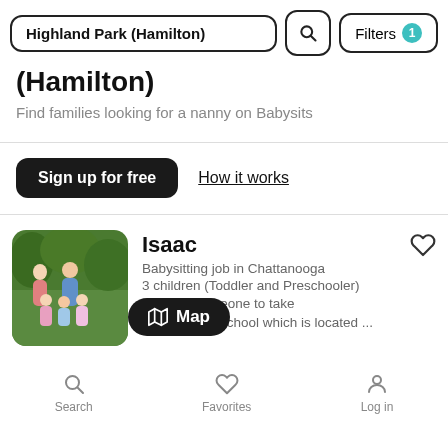Highland Park (Hamilton) [search bar with Filters button]
(Hamilton)
Find families looking for a nanny on Babysits
Sign up for free  How it works
Isaac
Babysitting job in Chattanooga
3 children (Toddler and Preschooler)
We a[re looking f]or someone to take our 3 girls to school which is located ...
Search  Favorites  Log in